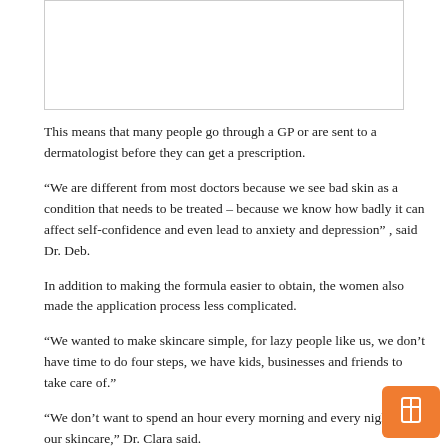[Figure (other): Blank white rectangle with border, likely an image placeholder at the top of the page]
This means that many people go through a GP or are sent to a dermatologist before they can get a prescription.
“We are different from most doctors because we see bad skin as a condition that needs to be treated – because we know how badly it can affect self-confidence and even lead to anxiety and depression” , said Dr. Deb.
In addition to making the formula easier to obtain, the women also made the application process less complicated.
“We wanted to make skincare simple, for lazy people like us, we don’t have time to do four steps, we have kids, businesses and friends to take care of.”
“We don’t want to spend an hour every morning and every night on our skincare,” Dr. Clara said.